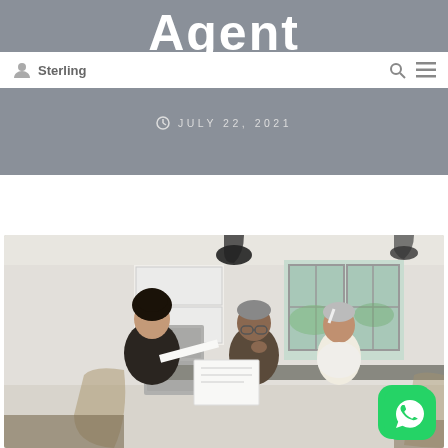Agent
Sterling
JULY 22, 2021
[Figure (photo): A female insurance agent showing documents to an elderly couple seated at a kitchen table in a bright home interior. The agent wears a dark blazer and the couple appear to be reviewing paperwork together.]